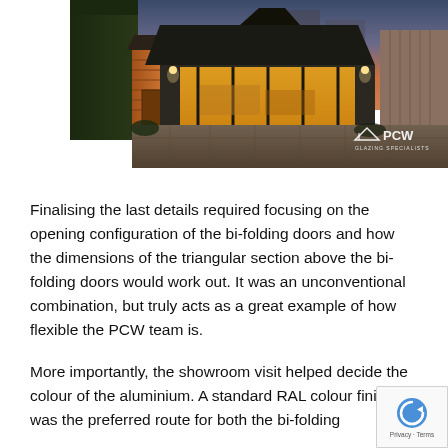[Figure (photo): Evening/dusk photograph of a garden room extension with black aluminium bi-folding doors, warm interior lighting, triangular apex roof, wooden cladding shed to the left, brick wall to the right, stone patio, with PCW Glazing Specialists logo watermark in bottom right corner.]
Finalising the last details required focusing on the opening configuration of the bi-folding doors and how the dimensions of the triangular section above the bi-folding doors would work out. It was an unconventional combination, but truly acts as a great example of how flexible the PCW team is.
More importantly, the showroom visit helped decide the colour of the aluminium. A standard RAL colour finish was the preferred route for both the bi-folding